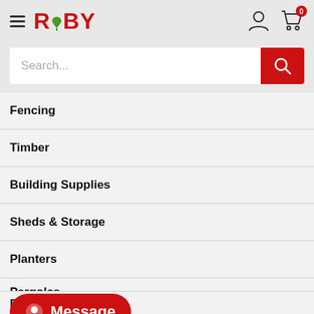RUBY - navigation header with hamburger menu, logo, user icon, and cart with 0 items
Search...
Fencing
Timber
Building Supplies
Sheds & Storage
Planters
Pergolas
Decking
Message